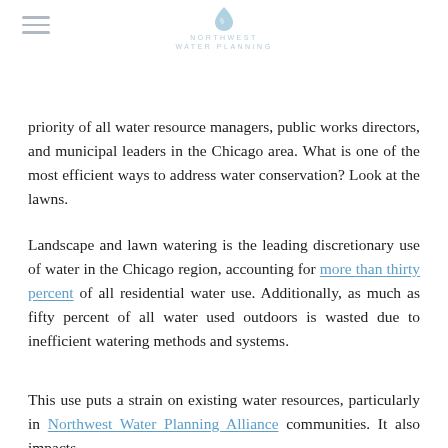NORTHWEST WATER PLANNING
priority of all water resource managers, public works directors, and municipal leaders in the Chicago area. What is one of the most efficient ways to address water conservation? Look at the lawns.
Landscape and lawn watering is the leading discretionary use of water in the Chicago region, accounting for more than thirty percent of all residential water use. Additionally, as much as fifty percent of all water used outdoors is wasted due to inefficient watering methods and systems.
This use puts a strain on existing water resources, particularly in Northwest Water Planning Alliance communities. It also impacts